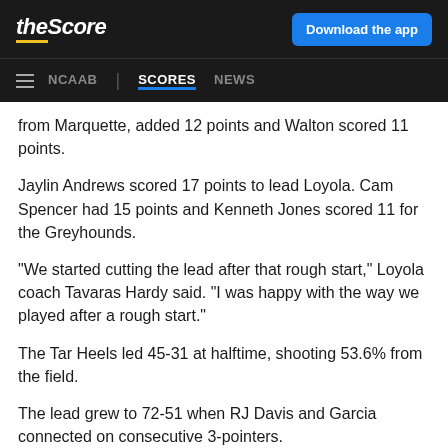theScore | Download the app | NCAAB SCORES NEWS
from Marquette, added 12 points and Walton scored 11 points.
Jaylin Andrews scored 17 points to lead Loyola. Cam Spencer had 15 points and Kenneth Jones scored 11 for the Greyhounds.
“We started cutting the lead after that rough start,” Loyola coach Tavaras Hardy said. “I was happy with the way we played after a rough start.”
The Tar Heels led 45-31 at halftime, shooting 53.6% from the field.
The lead grew to 72-51 when RJ Davis and Garcia connected on consecutive 3-pointers.